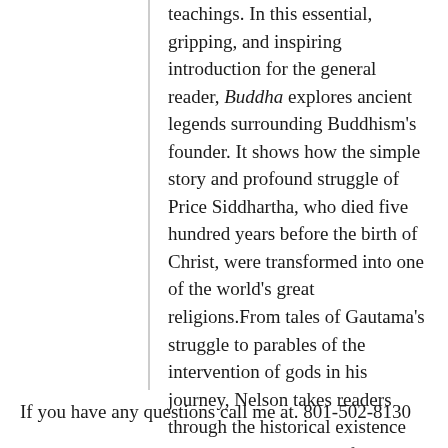teachings. In this essential, gripping, and inspiring introduction for the general reader, Buddha explores ancient legends surrounding Buddhism's founder. It shows how the simple story and profound struggle of Price Siddhartha, who died five hundred years before the birth of Christ, were transformed into one of the world's great religions.From tales of Gautama's struggle to parables of the intervention of gods in his journey, Nelson takes readers through the historical existence and ideals at the heart of a religion and philosophy that searches beyond materialism for the true aim of life.
If you have any questions call me at. 801-502-8130